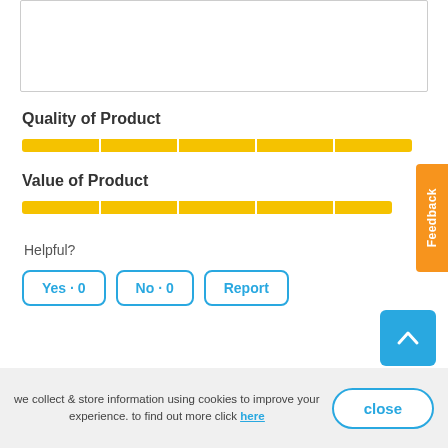[Figure (other): Empty text input box]
Quality of Product
[Figure (other): Yellow star rating bar for Quality of Product - full 5 stars]
Value of Product
[Figure (other): Yellow star rating bar for Value of Product - full 5 stars]
Helpful?
Yes · 0
No · 0
Report
we collect & store information using cookies to improve your experience. to find out more click here